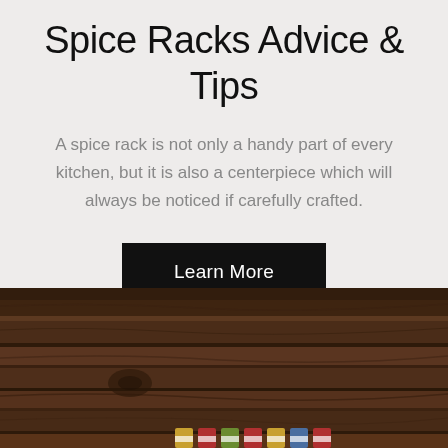Spice Racks Advice & Tips
A spice rack is not only a handy part of every kitchen, but it is also a centerpiece which will always be noticed if carefully crafted.
Learn More
[Figure (photo): A wooden spice rack surface with dark brown wood grain texture, with small spice containers visible at the bottom edge.]